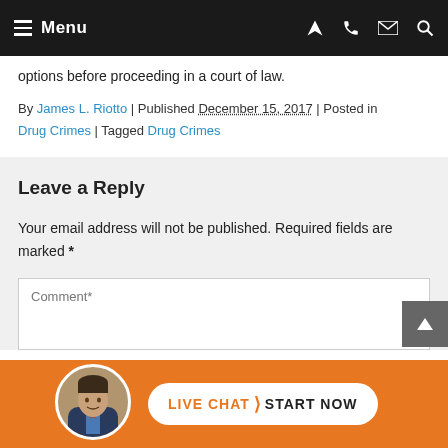Menu
options before proceeding in a court of law.
By James L. Riotto | Published December 15, 2017 | Posted in Drug Crimes | Tagged Drug Crimes
Leave a Reply
Your email address will not be published. Required fields are marked *
Comment*